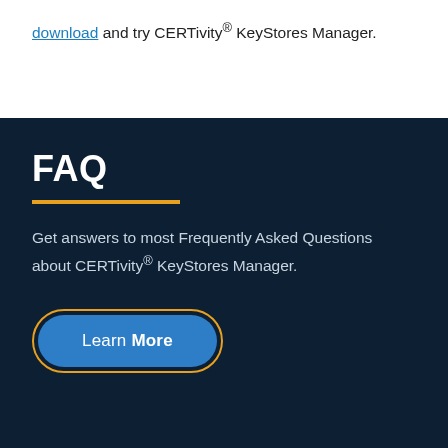download and try CERTivity® KeyStores Manager.
FAQ
Get answers to most Frequently Asked Questions about CERTivity® KeyStores Manager.
Learn More